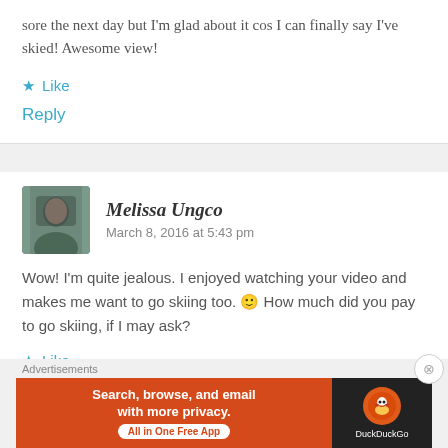sore the next day but I'm glad about it cos I can finally say I've skied! Awesome view!
★ Like
Reply
Melissa Ungco   March 8, 2016 at 5:43 pm
Wow! I'm quite jealous. I enjoyed watching your video and makes me want to go skiing too. 🙂 How much did you pay to go skiing, if I may ask?
★ Like
Advertisements
[Figure (screenshot): DuckDuckGo advertisement banner: 'Search, browse, and email with more privacy. All in One Free App' with DuckDuckGo logo on dark background.]